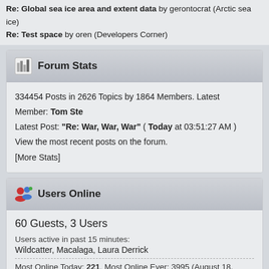Re: Global sea ice area and extent data by gerontocrat (Arctic sea ice)
Re: Test space by oren (Developers Corner)
Forum Stats
334454 Posts in 2626 Topics by 1864 Members. Latest Member: Tom Ste
Latest Post: "Re: War, War, War" ( Today at 03:51:27 AM )
View the most recent posts on the forum.
[More Stats]
Users Online
60 Guests, 3 Users
Users active in past 15 minutes:
Wildcatter, Macalaga, Laura Derrick
Most Online Today: 221. Most Online Ever: 3995 (August 18, 2019, 02:49:03 PM)
SMF 2.0.19 | SMF © Simple Audio Video Emb XHTML | P Page created in 0.048